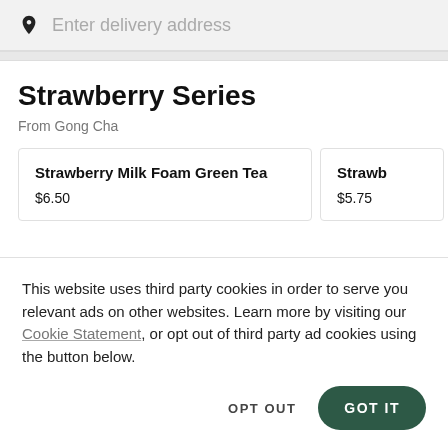Enter delivery address
Strawberry Series
From Gong Cha
Strawberry Milk Foam Green Tea — $6.50
Strawb — $5.75
This website uses third party cookies in order to serve you relevant ads on other websites. Learn more by visiting our Cookie Statement, or opt out of third party ad cookies using the button below.